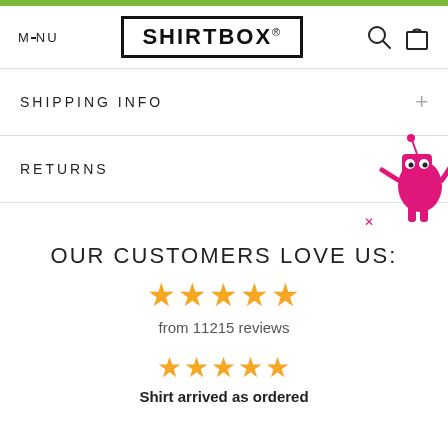MENU | SHIRTBOX® | [search icon] [cart icon]
SHIPPING INFO
RETURNS
[Figure (illustration): Pink cartoon robot mascot in bottom right corner with an X close button]
OUR CUSTOMERS LOVE US:
★★★★★ from 11215 reviews
★★★★★
Shirt arrived as ordered